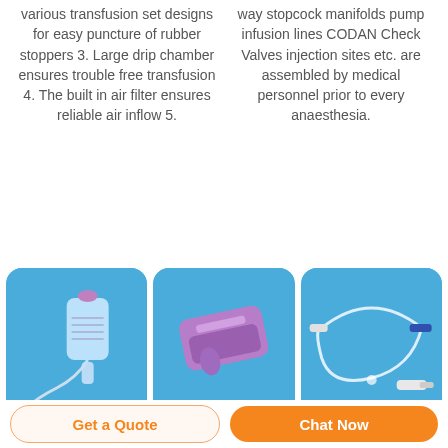various transfusion set designs for easy puncture of rubber stoppers 3. Large drip chamber ensures trouble free transfusion 4. The built in air filter ensures reliable air inflow 5.
way stopcock manifolds pump infusion lines CODAN Check Valves injection sites etc. are assembled by medical personnel prior to every anaesthesia.
[Figure (photo): IV transfusion set with tubing and bag on blue background]
[Figure (photo): Purple/lavender medical clamp or clip device on blue background]
[Figure (photo): Medical IV line with connectors and tubing on blue background]
Get a Quote
Chat Now